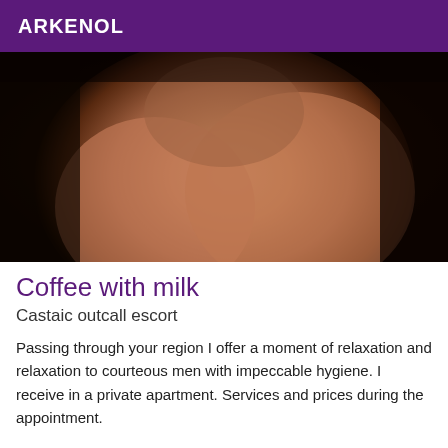ARKENOL
[Figure (photo): Close-up photo of a person's body]
Coffee with milk
Castaic outcall escort
Passing through your region I offer a moment of relaxation and relaxation to courteous men with impeccable hygiene. I receive in a private apartment. Services and prices during the appointment.